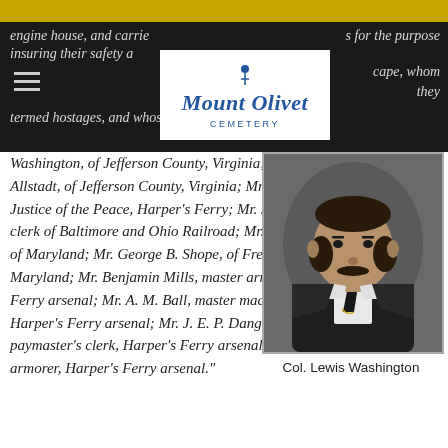engine house, and carrie... for the purpose insuring their safety ...cape, whom they termed hostages, and whose names are Colonel L. W.
[Figure (logo): Mount Olivet Cemetery logo with figure on top and blue serif text]
Washington, of Jefferson County, Virginia; Mr. J. H. Allstadt, of Jefferson County, Virginia; Mr. Israel Russell, Justice of the Peace, Harper's Ferry; Mr. John Donahue, clerk of Baltimore and Ohio Railroad; Mr. Terence Byrne, of Maryland; Mr. George B. Shope, of Frederick, Maryland; Mr. Benjamin Mills, master armorer, Harper's Ferry arsenal; Mr. A. M. Ball, master machinist, Harper's Ferry arsenal; Mr. J. E. P. Dangerfield, paymaster's clerk, Harper's Ferry arsenal; Mr. J. Burd, armorer, Harper's Ferry arsenal."
[Figure (photo): Black and white portrait photograph of Col. Lewis Washington, a man with a mustache wearing a dark jacket]
Col. Lewis Washington